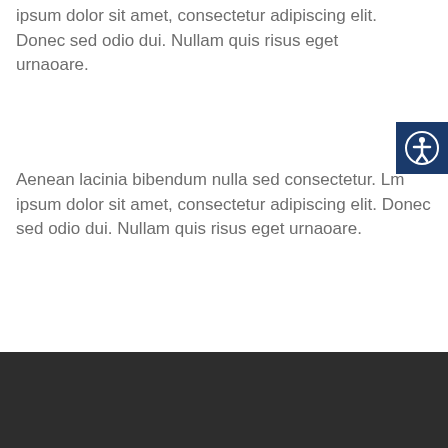ipsum dolor sit amet, consectetur adipiscing elit. Donec sed odio dui. Nullam quis risus eget urnaoare.
[Figure (illustration): Accessibility icon button — white person with arms outstretched inside a circle, on a dark navy blue square background, positioned at top right]
Aenean lacinia bibendum nulla sed consectetur. Lm ipsum dolor sit amet, consectetur adipiscing elit. Donec sed odio dui. Nullam quis risus eget urnaoare.